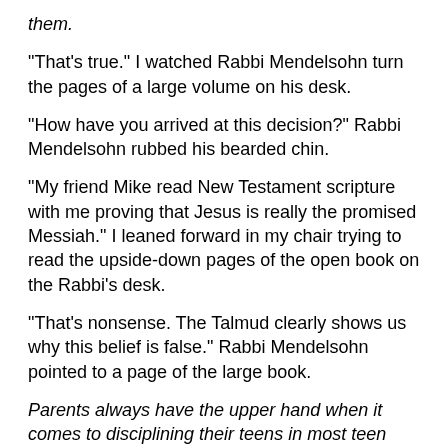them.
“That’s true.” I watched Rabbi Mendelsohn turn the pages of a large volume on his desk.
“How have you arrived at this decision?” Rabbi Mendelsohn rubbed his bearded chin.
“My friend Mike read New Testament scripture with me proving that Jesus is really the promised Messiah.” I leaned forward in my chair trying to read the upside-down pages of the open book on the Rabbi’s desk.
“That’s nonsense. The Talmud clearly shows us why this belief is false.” Rabbi Mendelsohn pointed to a page of the large book.
Parents always have the upper hand when it comes to disciplining their teens in most teen fiction novels.
“Rabbi, I’m sorry if we have caused trouble. We have forbidden Tamara to have outside contact with Mike.